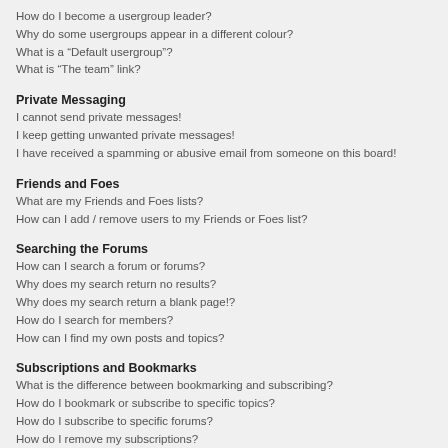How do I become a usergroup leader?
Why do some usergroups appear in a different colour?
What is a “Default usergroup”?
What is “The team” link?
Private Messaging
I cannot send private messages!
I keep getting unwanted private messages!
I have received a spamming or abusive email from someone on this board!
Friends and Foes
What are my Friends and Foes lists?
How can I add / remove users to my Friends or Foes list?
Searching the Forums
How can I search a forum or forums?
Why does my search return no results?
Why does my search return a blank page!?
How do I search for members?
How can I find my own posts and topics?
Subscriptions and Bookmarks
What is the difference between bookmarking and subscribing?
How do I bookmark or subscribe to specific topics?
How do I subscribe to specific forums?
How do I remove my subscriptions?